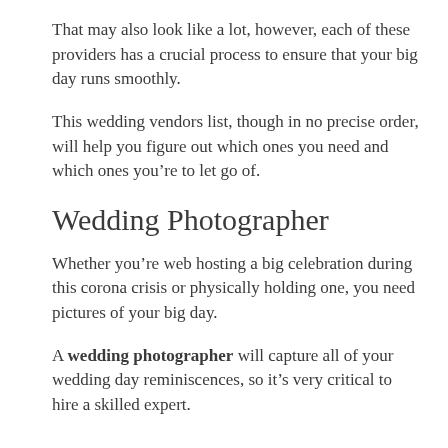That may also look like a lot, however, each of these providers has a crucial process to ensure that your big day runs smoothly.
This wedding vendors list, though in no precise order, will help you figure out which ones you need and which ones you're to let go of.
Wedding Photographer
Whether you're web hosting a big celebration during this corona crisis or physically holding one, you need pictures of your big day.
A wedding photographer will capture all of your wedding day reminiscences, so it's very critical to hire a skilled expert.